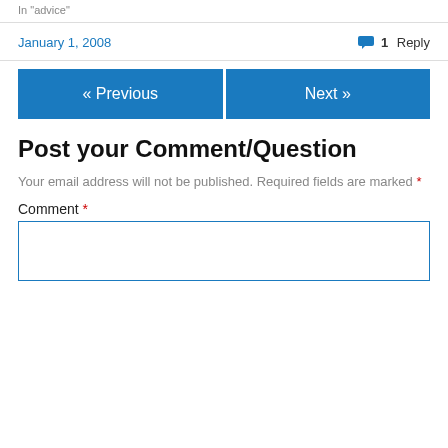In "advice"
January 1, 2008
1 Reply
« Previous
Next »
Post your Comment/Question
Your email address will not be published. Required fields are marked *
Comment *